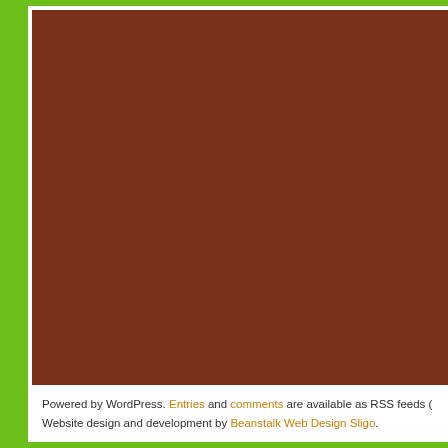Powered by WordPress. Entries and comments are available as RSS feeds (. Website design and development by Beanstalk Web Design Sligo.